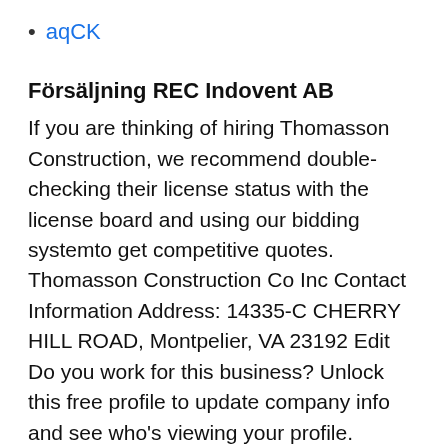aqCK
Försäljning REC Indovent AB
If you are thinking of hiring Thomasson Construction, we recommend double-checking their license status with the license board and using our bidding systemto get competitive quotes. Thomasson Construction Co Inc Contact Information Address: 14335-C CHERRY HILL ROAD, Montpelier, VA 23192 Edit Do you work for this business? Unlock this free profile to update company info and see who's viewing your profile. Thomasson Construction will complete all your wants when it comes to house and room addition and augment your household's look. The trained and seasoned staff of personnel at this